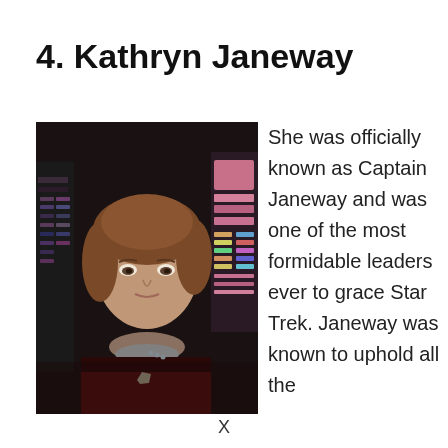4. Kathryn Janeway
[Figure (photo): Photo of Captain Kathryn Janeway (actress Kate Mulgrew) in Star Trek Voyager uniform, dark background with ship controls visible]
She was officially known as Captain Janeway and was one of the most formidable leaders ever to grace Star Trek. Janeway was known to uphold all the
X